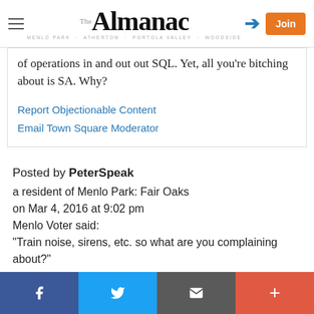The Almanac — MENLO PARK · ATHERTON · PORTOLA VALLEY · WOODSIDE — Join
of operations in and out out SQL. Yet, all you're bitching about is SA. Why?
Report Objectionable Content
Email Town Square Moderator
Posted by PeterSpeak
a resident of Menlo Park: Fair Oaks
on Mar 4, 2016 at 9:02 pm
Menlo Voter said:
"Train noise, sirens, etc. so what are you complaining about?"
f  Twitter  Email  +